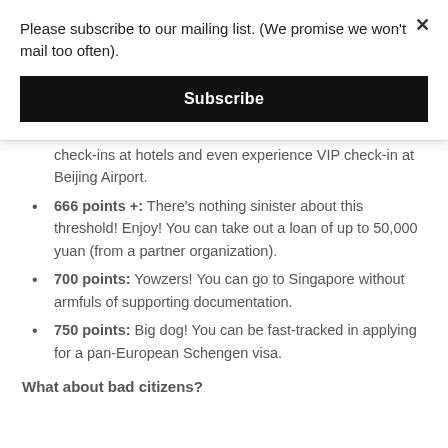Please subscribe to our mailing list. (We promise we won't mail too often).
Subscribe
check-ins at hotels and even experience VIP check-in at Beijing Airport.
666 points +: There’s nothing sinister about this threshold! Enjoy! You can take out a loan of up to 50,000 yuan (from a partner organization).
700 points: Yowzers! You can go to Singapore without armfuls of supporting documentation.
750 points: Big dog! You can be fast-tracked in applying for a pan-European Schengen visa.
What about bad citizens?